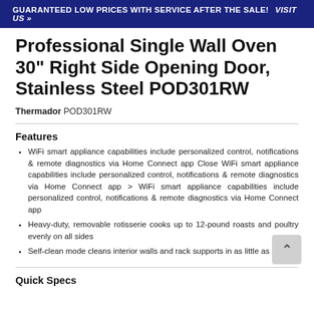GUARANTEED LOW PRICES WITH SERVICE AFTER THE SALE!  VISIT US >>
Professional Single Wall Oven 30" Right Side Opening Door, Stainless Steel POD301RW
Thermador POD301RW
Features
WiFi smart appliance capabilities include personalized control, notifications & remote diagnostics via Home Connect app Close WiFi smart appliance capabilities include personalized control, notifications & remote diagnostics via Home Connect app > WiFi smart appliance capabilities include personalized control, notifications & remote diagnostics via Home Connect app
Heavy-duty, removable rotisserie cooks up to 12-pound roasts and poultry evenly on all sides
Self-clean mode cleans interior walls and rack supports in as little as 2 hours
Quick Specs